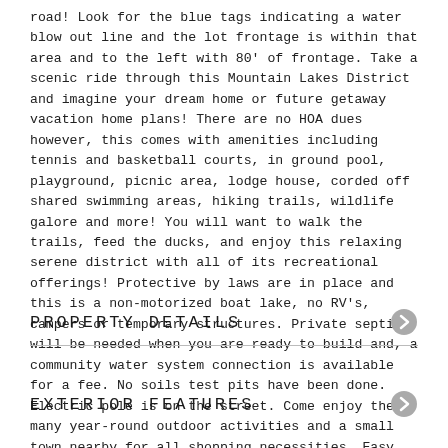road! Look for the blue tags indicating a water blow out line and the lot frontage is within that area and to the left with 80' of frontage. Take a scenic ride through this Mountain Lakes District and imagine your dream home or future getaway vacation home plans! There are no HOA dues however, this comes with amenities including tennis and basketball courts, in ground pool, playground, picnic area, lodge house, corded off shared swimming areas, hiking trails, wildlife galore and more! You will want to walk the trails, feed the ducks, and enjoy this relaxing serene district with all of its recreational offerings! Protective by laws are in place and this is a non-motorized boat lake, no RV's, campers or temporary structures. Private septic will be needed when you are ready to build and, a community water system connection is available for a fee. No soils test pits have been done. Electric pole is on the street. Come enjoy the many year-round outdoor activities and a small town nearby for all shopping necessities. Easy commute from I-91 or I-93.
PROPERTY DETAILS
EXTERIOR FEATURES